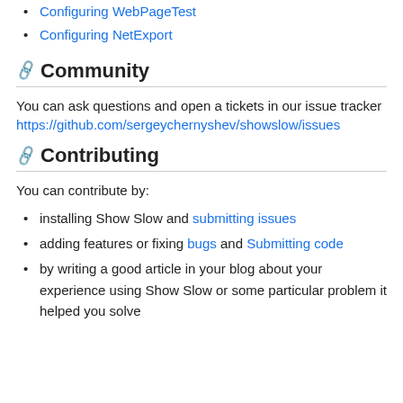Configuring WebPageTest
Configuring NetExport
Community
You can ask questions and open a tickets in our issue tracker https://github.com/sergeychernyshev/showslow/issues
Contributing
You can contribute by:
installing Show Slow and submitting issues
adding features or fixing bugs and Submitting code
by writing a good article in your blog about your experience using Show Slow or some particular problem it helped you solve